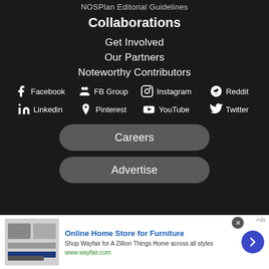NOSPlan Editorial Guidelines
Collaborations
Get Involved
Our Partners
Noteworthy Contributors
[Figure (infographic): Social media icons grid: Facebook, FB Group, Instagram, Reddit, Linkedin, Pinterest, YouTube, Twitter]
Careers
Advertise
[Figure (infographic): Advertisement banner for Wayfair: Online Home Store for Furniture. Shop Wayfair for A Zillion Things Home across all styles. www.wayfair.com]